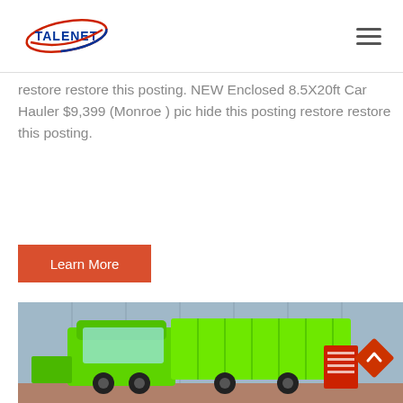TALENET
restore restore this posting. NEW Enclosed 8.5X20ft Car Hauler $9,399 (Monroe ) pic hide this posting restore restore this posting.
Learn More
[Figure (photo): Bright green heavy-duty dump truck parked in front of a glass building facade, with a red sign/banner visible beside it and other white trucks in the background.]